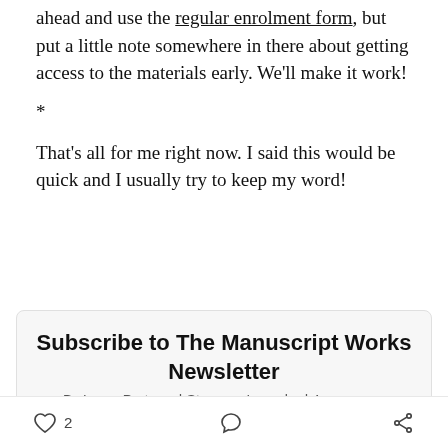ahead and use the regular enrolment form, but put a little note somewhere in there about getting access to the materials early. We'll make it work!
*
That's all for me right now. I said this would be quick and I usually try to keep my word!
Subscribe to The Manuscript Works Newsletter
By Laura Portwood-Stacer · Launched 4 years ago
Book publishing advice for academic authors from consultant and developmental editor Laura Portwood-
2